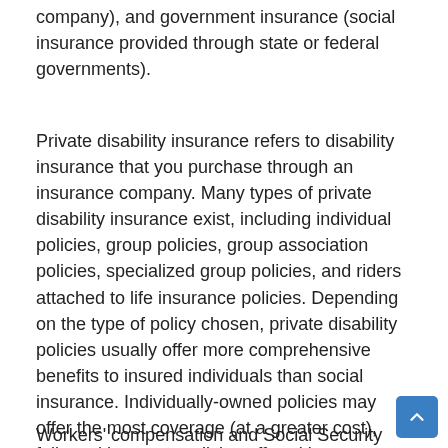company), and government insurance (social insurance provided through state or federal governments).
Private disability insurance refers to disability insurance that you purchase through an insurance company. Many types of private disability insurance exist, including individual policies, group policies, group association policies, specialized group policies, and riders attached to life insurance policies. Depending on the type of policy chosen, private disability policies usually offer more comprehensive benefits to insured individuals than social insurance. Individually-owned policies may offer the most coverage (at a greater cost), followed by group policies offered by an employer or association.
Workers' compensation and Social Security